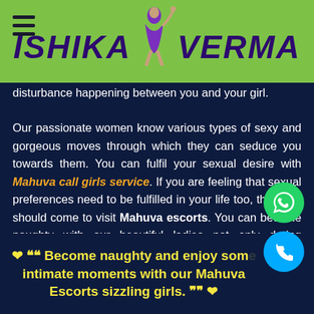ISHIKA VERMA
disturbance happening between you and your girl.
Our passionate women know various types of sexy and gorgeous moves through which they can seduce you towards them. You can fulfil your sexual desire with Mahuva call girls service. If you are feeling that sexual preferences need to be fulfilled in your life too, then you should come to visit Mahuva escorts. You can become naughty with our beautiful ladies not only during intimation on the bed but also during oral sex.
❤ ““ Become naughty and enjoy some intimate moments with our Mahuva Escorts sizzling girls. ”” ❤